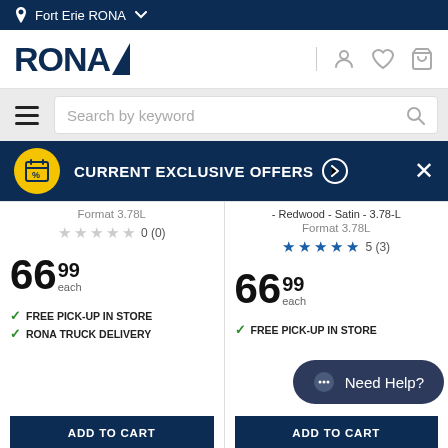Fort Erie RONA
[Figure (logo): RONA logo with navigation icons (user, heart, cart)]
Search by keyword
[Figure (infographic): Current Exclusive Offers promotional banner with calendar/percent icon]
- Redwood - Satin - 3.78-L
Format 3.78L
★★★★★ 0 (0)
Format 3.78L
★★★★★ 5 (3)
66 99 each
66 99 each
✓ FREE PICK-UP IN STORE
✓ RONA TRUCK DELIVERY
✓ FREE PICK-UP IN STORE
Need Help?
ADD TO CART
ADD TO CART